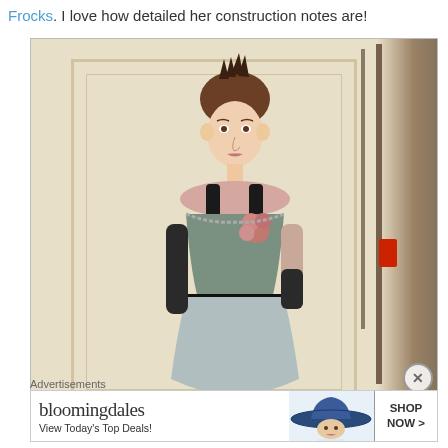Frocks. I love how detailed her construction notes are!
[Figure (photo): Woman wearing a historical-style gown with sage green corset bodice, pink floral decoration, black velvet straps, and black arm warmers, standing in front of a cream-colored wall with curtain or stand visible on the right side]
Advertisements
[Figure (other): Bloomingdale's advertisement banner reading 'bloomingdales View Today's Top Deals! SHOP NOW >' with image of woman in large blue hat]